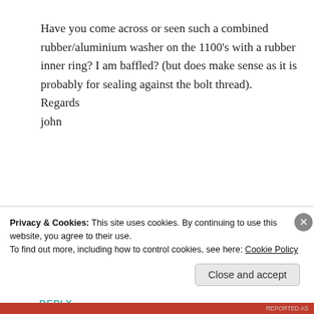Have you come across or seen such a combined rubber/aluminium washer on the 1100's with a rubber inner ring? I am baffled? (but does make sense as it is probably for sealing against the bolt thread).
Regards
john
★ Like
REPLY
Privacy & Cookies: This site uses cookies. By continuing to use this website, you agree to their use.
To find out more, including how to control cookies, see here: Cookie Policy
Close and accept